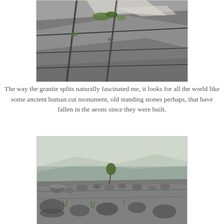[Figure (photo): Close-up photograph of natural granite rock slabs splitting along flat planes with green moss/grass growing in the cracks between the stones.]
The way the granite splits naturally fascinated me, it looks for all the world like some ancient human cut monument, old standing stones perhaps, that have fallen in the aeons since they were built.
[Figure (photo): Wide-angle photograph of a hilltop covered in scattered granite boulders and rocks with sparse vegetation and trees, mountains and hazy sky visible in the background.]